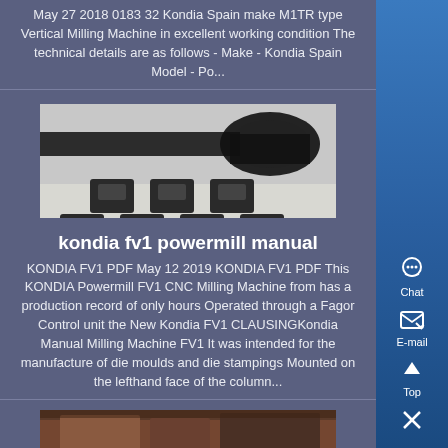May 27 2018 0183 32 Kondia Spain make M1TR type Vertical Milling Machine in excellent working condition The technical details are as follows - Make - Kondia Spain Model - Po...
[Figure (photo): Photo of machine parts: bearings and belt components on a surface]
kondia fv1 powermill manual
KONDIA FV1 PDF May 12 2019 KONDIA FV1 PDF This KONDIA Powermill FV1 CNC Milling Machine from has a production record of only hours Operated through a Fagor Control unit the New Kondia FV1 CLAUSINGKondia Manual Milling Machine FV1 It was intended for the manufacture of die moulds and die stampings Mounted on the lefthand face of the column...
[Figure (photo): Photo partially visible at bottom, appears to show industrial machinery]